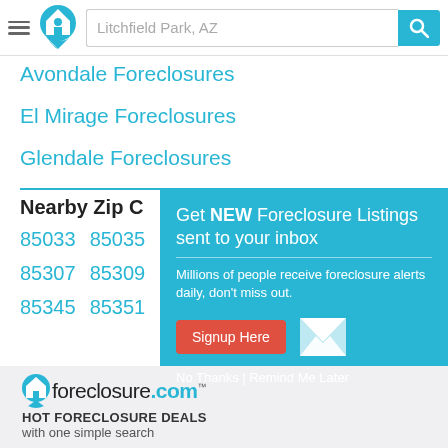Litchfield Park, AZ (search bar with logo)
Avondale Foreclosures
El Mirage Foreclosures
Glendale Foreclosures
Nearby Zip C...
85033  85035
85307  85309
85345  85351
[Figure (screenshot): Modal popup with teal background: 'Get NEW Foreclosure Listings sent to your inbox. Millions of people receive foreclosure alerts daily, don't miss out.' with red Signup Here button, mail icon, and 'No Thanks | Remind Me Later' link]
foreclosure.com HOT FORECLOSURE DEALS with one simple search